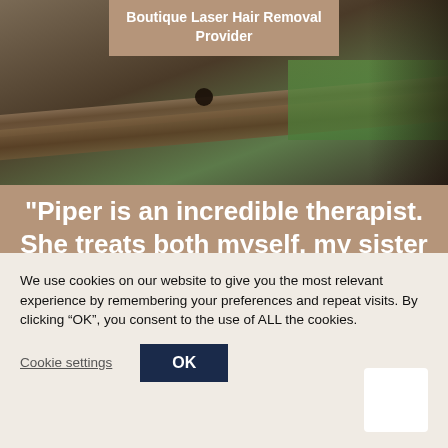[Figure (photo): Hero background image showing wooden planks/boards with green surface, dark tones, appearing to be a spa or wellness studio setting]
Boutique Laser Hair Removal Provider
"Piper is an incredible therapist. She treats both myself, my sister in law and my husband and we all feel totally comfortable in all situations (intimate lasering at times). This studio is a very ethical company who really go the extra mile for their customers, Piper genuinely cares that you are happy
We use cookies on our website to give you the most relevant experience by remembering your preferences and repeat visits. By clicking “OK”, you consent to the use of ALL the cookies.
Cookie settings
OK